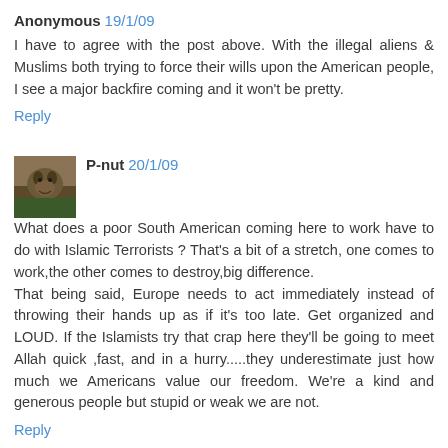Anonymous 19/1/09
I have to agree with the post above. With the illegal aliens & Muslims both trying to force their wills upon the American people, I see a major backfire coming and it won't be pretty.
Reply
P-nut 20/1/09
What does a poor South American coming here to work have to do with Islamic Terrorists ? That's a bit of a stretch, one comes to work,the other comes to destroy,big difference.
That being said, Europe needs to act immediately instead of throwing their hands up as if it's too late. Get organized and LOUD. If the Islamists try that crap here they'll be going to meet Allah quick ,fast, and in a hurry.....they underestimate just how much we Americans value our freedom. We're a kind and generous people but stupid or weak we are not.
Reply